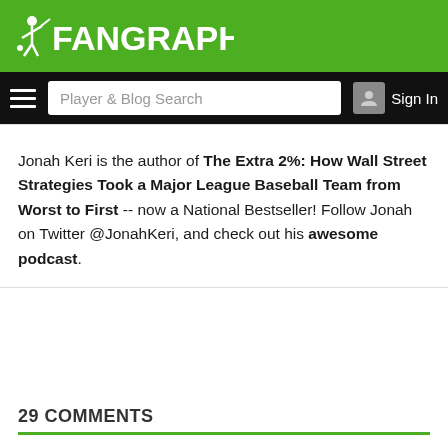FanGraphs
Jonah Keri is the author of The Extra 2%: How Wall Street Strategies Took a Major League Baseball Team from Worst to First -- now a National Bestseller! Follow Jonah on Twitter @JonahKeri, and check out his awesome podcast.
29 COMMENTS
Oldest